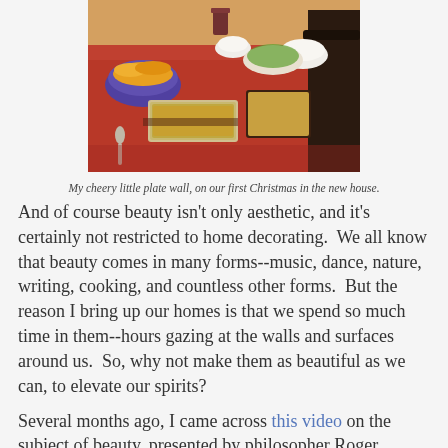[Figure (photo): A dining table covered with a red tablecloth, set with various dishes of food including chips, casseroles, and salads, photographed from an angle.]
My cheery little plate wall, on our first Christmas in the new house.
And of course beauty isn't only aesthetic, and it's certainly not restricted to home decorating.  We all know that beauty comes in many forms--music, dance, nature, writing, cooking, and countless other forms.  But the reason I bring up our homes is that we spend so much time in them--hours gazing at the walls and surfaces around us.  So, why not make them as beautiful as we can, to elevate our spirits?
Several months ago, I came across this video on the subject of beauty, presented by philosopher Roger Scruton, entitled Why Beauty Matters.  It has been with me ever since.  It is one of the most moving pieces I've ever come across on the